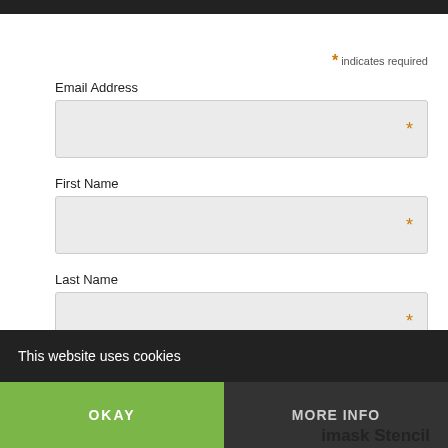* indicates required
Email Address
First Name
Last Name
SUBSCRIBE
This website uses cookies
OKAY
MORE INFO
imask Stencil